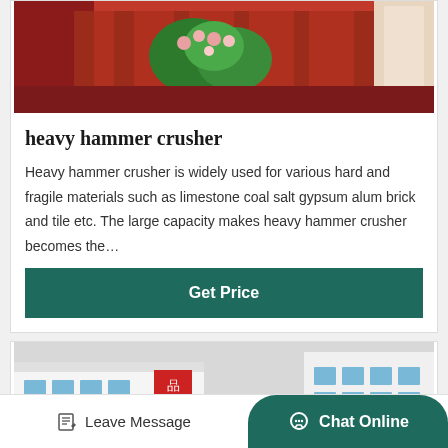[Figure (photo): Heavy hammer crusher machine with red metal body, flowers and greenery visible inside the industrial machine]
heavy hammer crusher
Heavy hammer crusher is widely used for various hard and fragile materials such as limestone coal salt gypsum alum brick and tile etc. The large capacity makes heavy hammer crusher becomes the…
Get Price
[Figure (photo): Multiple orange/red industrial crusher machines outdoors in front of white factory buildings with Chinese signage]
Leave Message   Chat Online